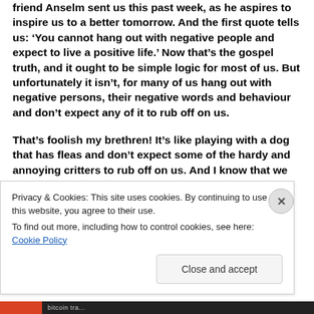friend Anselm sent us this past week, as he aspires to inspire us to a better tomorrow. And the first quote tells us: ‘You cannot hang out with negative people and expect to live a positive life.’ Now that’s the gospel truth, and it ought to be simple logic for most of us. But unfortunately it isn’t, for many of us hang out with negative persons, their negative words and behaviour and don’t expect any of it to rub off on us.
That’s foolish my brethren! It’s like playing with a dog that has fleas and don’t expect some of the hardy and annoying critters to rub off on us. And I know that we
Privacy & Cookies: This site uses cookies. By continuing to use this website, you agree to their use.
To find out more, including how to control cookies, see here: Cookie Policy
Close and accept